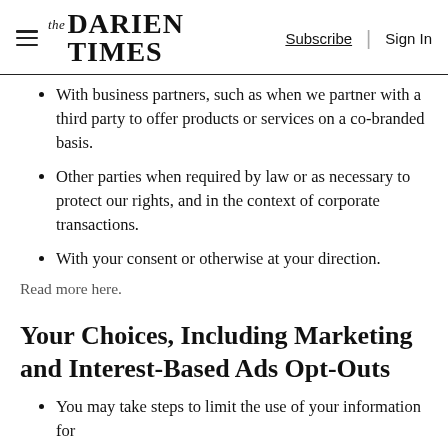The Darien Times — Subscribe | Sign In
With business partners, such as when we partner with a third party to offer products or services on a co-branded basis.
Other parties when required by law or as necessary to protect our rights, and in the context of corporate transactions.
With your consent or otherwise at your direction.
Read more here.
Your Choices, Including Marketing and Interest-Based Ads Opt-Outs
You may take steps to limit the use of your information for